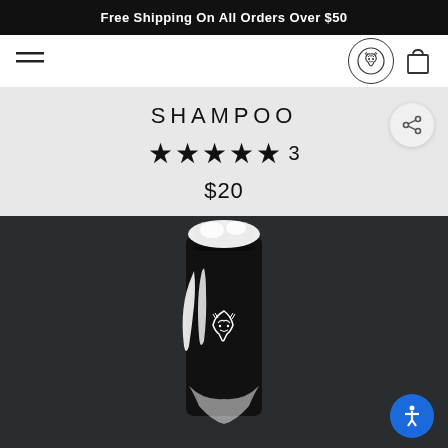Free Shipping On All Orders Over $50
[Figure (logo): Hamburger menu icon and wolf logo circle with shopping bag icon in navigation bar]
SHAMPOO
★★★★★ 3
$20
[Figure (photo): Black shampoo bottle with white wolf logo and soap foam on dark background]